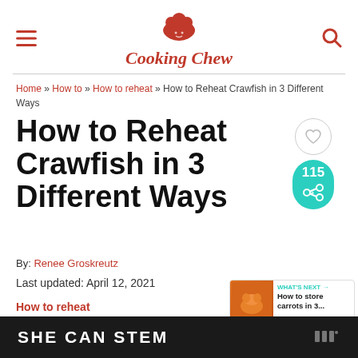Cooking Chew
Home » How to » How to reheat » How to Reheat Crawfish in 3 Different Ways
How to Reheat Crawfish in 3 Different Ways
By: Renee Groskreutz
Last updated: April 12, 2021
How to reheat
[Figure (infographic): Heart/like button, share count 115, teal share button, and What's Next promo for 'How to store carrots in 3...']
SHE CAN STEM